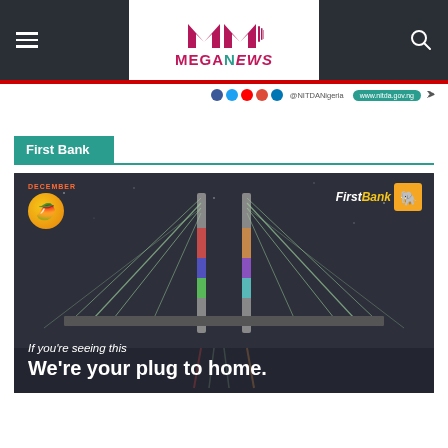MEGANEWS
First Bank
[Figure (photo): FirstBank Nigeria advertisement showing an aerial night view of the Lekki-Ikoyi Link Bridge illuminated with colorful lights, with a December holiday badge in the top left and FirstBank logo in the top right. Text overlay reads: 'If you're seeing this / We're your plug to home.']